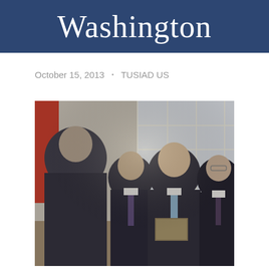Washington
October 15, 2013  •  TUSIAD US
[Figure (photo): Four men in dark suits standing indoors at a formal event. A Turkish flag is partially visible on the left. The men appear to be exchanging or presenting an item. Large windows with white frames are visible in the background.]